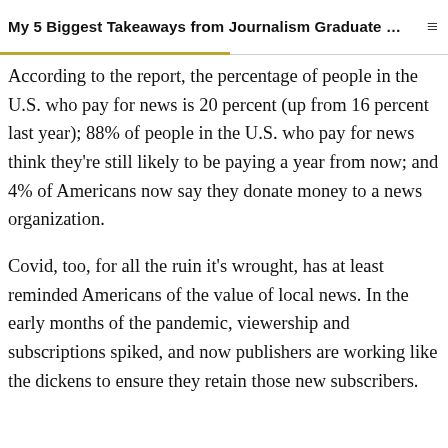slide that surveyed more than 80,000 people in 40...
My 5 Biggest Takeaways from Journalism Graduate …
According to the report, the percentage of people in the U.S. who pay for news is 20 percent (up from 16 percent last year); 88% of people in the U.S. who pay for news think they're still likely to be paying a year from now; and 4% of Americans now say they donate money to a news organization.
Covid, too, for all the ruin it's wrought, has at least reminded Americans of the value of local news. In the early months of the pandemic, viewership and subscriptions spiked, and now publishers are working like the dickens to ensure they retain those new subscribers.